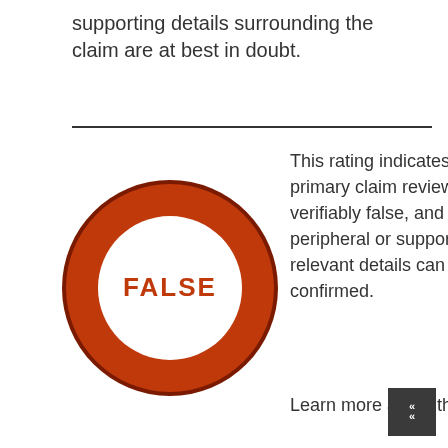supporting details surrounding the claim are at best in doubt.
[Figure (illustration): A large red-orange ring (donut circle) with a white center. Inside the white center, the word FALSE is printed in bold red-orange text.]
This rating indicates the primary claim reviewed is verifiably false, and peripheral or supporting relevant details can not be confirmed.
Learn more about the